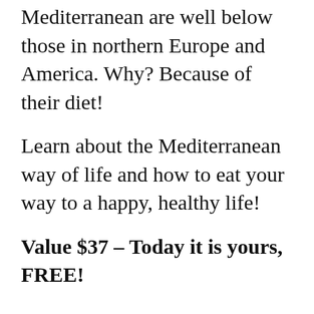Mediterranean are well below those in northern Europe and America. Why? Because of their diet!
Learn about the Mediterranean way of life and how to eat your way to a happy, healthy life!
Value $37 – Today it is yours, FREE!